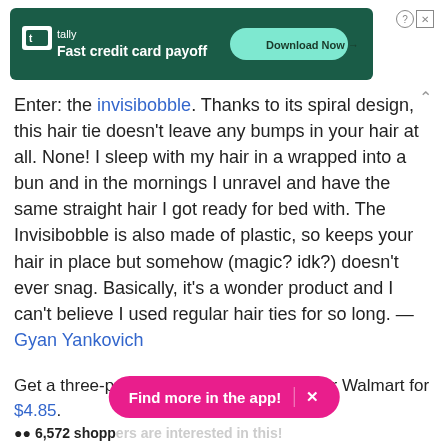[Figure (screenshot): Tally advertisement banner: dark green background with Tally logo, text 'Fast credit card payoff', and a 'Download Now' button]
Enter: the Invisibobble. Thanks to its spiral design, this hair tie doesn't leave any bumps in your hair at all. None! I sleep with my hair in a wrapped into a bun and in the mornings I unravel and have the same straight hair I got ready for bed with. The Invisibobble is also made of plastic, so keeps your hair in place but somehow (magic? idk?) doesn't ever snag. Basically, it's a wonder product and I can't believe I used regular hair ties for so long. —Gyan Yankovich
Get a three-pack from Amazon for $6.49 or Walmart for $4.85.
[Figure (screenshot): Pink pill-shaped button reading 'Find more in the app!' with an X close button]
6,572 shoppers are interested in this!